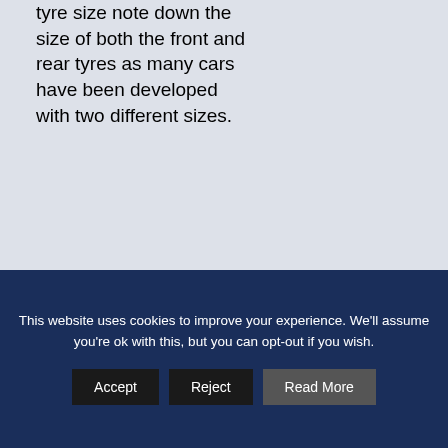tyre size note down the size of both the front and rear tyres as many cars have been developed with two different sizes.
WHAT OUR CUSTOMERS
This website uses cookies to improve your experience. We'll assume you're ok with this, but you can opt-out if you wish.